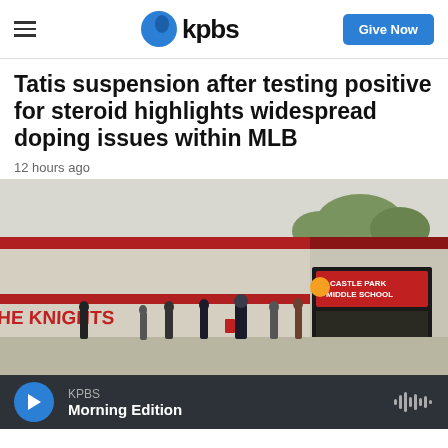kpbs | Give Now
Tatis suspension after testing positive for steroid highlights widespread doping issues within MLB
12 hours ago
[Figure (photo): Exterior of Castle Park Middle School with students standing outside. A sign reads 'Castle Park Middle School' and another reads 'The Knights'.]
KPBS Morning Edition